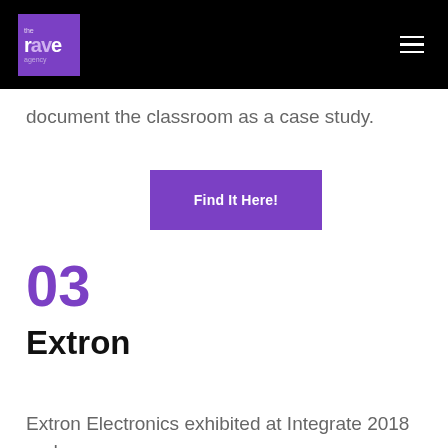the rave agency
document the classroom as a case study.
Find It Here!
03
Extron
Extron Electronics exhibited at Integrate 2018 and we